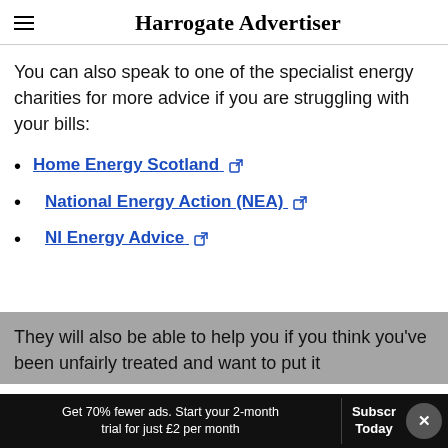Harrogate Advertiser
You can also speak to one of the specialist energy charities for more advice if you are struggling with your bills:
Home Energy Scotland
National Energy Action (NEA)
NI Energy Advice
They will also be able to help you if you think you've been unfairly treated and want to put it...
Get 70% fewer ads. Start your 2-month trial for just £2 per month
Subscribe Today